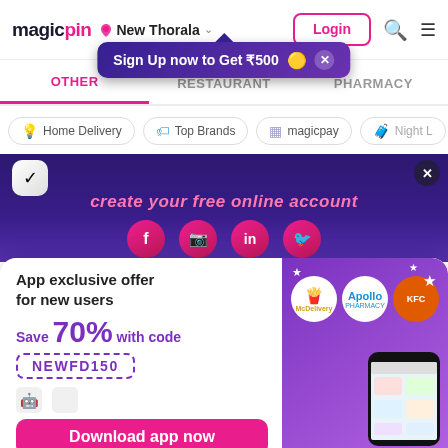magicpin | New Thorala | Login
Sign Up now to Get ₹500
OTHER | RESTAURANT | PHARMACY
Home Delivery | Top Brands | magicpay | Night L
[Figure (screenshot): Purple banner with social media icons (Facebook, Instagram, LinkedIn, Twitter) and italic pink text 'create your free online account']
[Figure (infographic): App exclusive offer popup card: Save 70% with code NEWFD150 for new users, with Download app now button, brand logos (McDonald's, Apollo, KFC), and phone mockup on purple background]